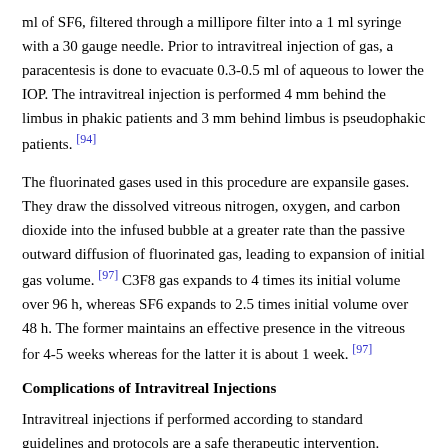ml of SF6, filtered through a millipore filter into a 1 ml syringe with a 30 gauge needle. Prior to intravitreal injection of gas, a paracentesis is done to evacuate 0.3-0.5 ml of aqueous to lower the IOP. The intravitreal injection is performed 4 mm behind the limbus in phakic patients and 3 mm behind limbus is pseudophakic patients. [94]
The fluorinated gases used in this procedure are expansile gases. They draw the dissolved vitreous nitrogen, oxygen, and carbon dioxide into the infused bubble at a greater rate than the passive outward diffusion of fluorinated gas, leading to expansion of initial gas volume. [97] C3F8 gas expands to 4 times its initial volume over 96 h, whereas SF6 expands to 2.5 times initial volume over 48 h. The former maintains an effective presence in the vitreous for 4-5 weeks whereas for the latter it is about 1 week. [97]
Complications of Intravitreal Injections
Intravitreal injections if performed according to standard guidelines and protocols are a safe therapeutic intervention. However, they are an intraocular procedure and certain risks and complications have to be borne in mind. These include